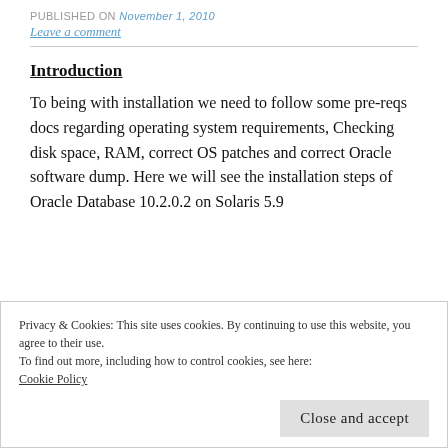PUBLISHED ON November 1, 2010
Leave a comment
Introduction
To being with installation we need to follow some pre-reqs docs regarding operating system requirements, Checking disk space, RAM, correct OS patches and correct Oracle software dump. Here we will see the installation steps of Oracle Database 10.2.0.2 on Solaris 5.9
Privacy & Cookies: This site uses cookies. By continuing to use this website, you agree to their use.
To find out more, including how to control cookies, see here:
Cookie Policy

Close and accept